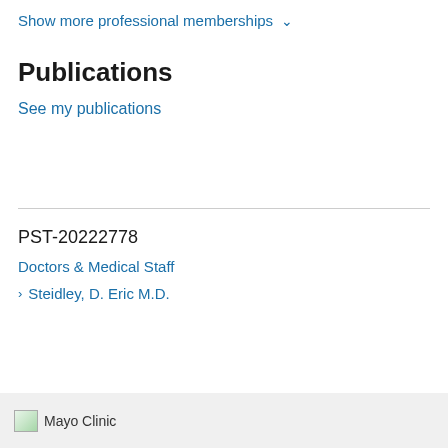Show more professional memberships ∨
Publications
See my publications
PST-20222778
Doctors & Medical Staff
> Steidley, D. Eric M.D.
Mayo Clinic